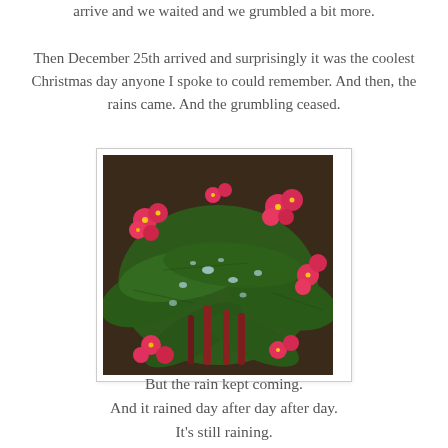arrive and we waited and we grumbled a bit more.

Then December 25th arrived and surprisingly it was the coolest Christmas day anyone I spoke to could remember. And then, the rains came. And the grumbling ceased.
[Figure (photo): Close-up photograph of pink/red flowers (possibly Crown of Thorns / Euphorbia) with large dark green leaves covered in water droplets after rain.]
But the rain kept coming.
And it rained day after day after day.
It's still raining.